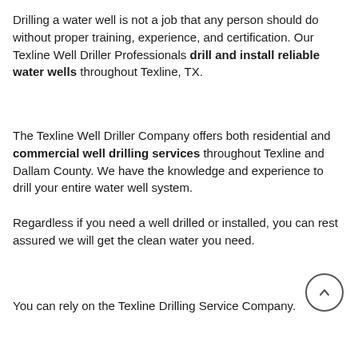Drilling a water well is not a job that any person should do without proper training, experience, and certification. Our Texline Well Driller Professionals drill and install reliable water wells throughout Texline, TX.
The Texline Well Driller Company offers both residential and commercial well drilling services throughout Texline and Dallam County. We have the knowledge and experience to drill your entire water well system.
Regardless if you need a well drilled or installed, you can rest assured we will get the clean water you need.
You can rely on the Texline Drilling Service Company.